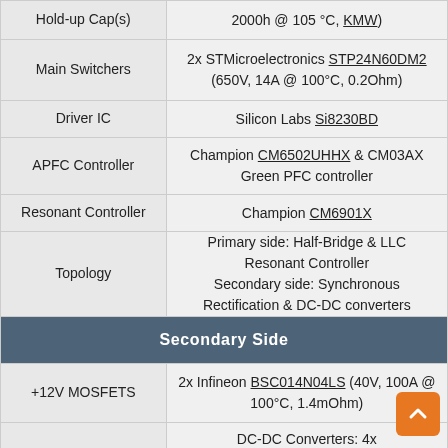| Component | Details |
| --- | --- |
| Hold-up Cap(s) | 2000h @ 105 °C, KMW) |
| Main Switchers | 2x STMicroelectronics STP24N60DM2 (650V, 14A @ 100°C, 0.2Ohm) |
| Driver IC | Silicon Labs Si8230BD |
| APFC Controller | Champion CM6502UHHX & CM03AX Green PFC controller |
| Resonant Controller | Champion CM6901X |
| Topology | Primary side: Half-Bridge & LLC Resonant Controller Secondary side: Synchronous Rectification & DC-DC converters |
| Secondary Side |  |
| +12V MOSFETS | 2x Infineon BSC014N04LS (40V, 100A @ 100°C, 1.4mOhm) |
| 5V & 3.3V | DC-DC Converters: 4x Nexperia PSMN2R0-30YL (30V, 100A @... |